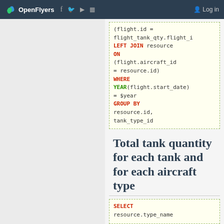OpenFlyers | Log in
(flight.id = flight_tank_qty.flight_i LEFT JOIN resource ON (flight.aircraft_id = resource.id) WHERE YEAR(flight.start_date) = $year GROUP BY resource.id, tank_type_id
Total tank quantity for each tank and for each aircraft type
SELECT resource.type_name